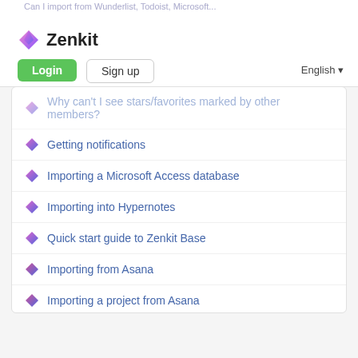Can I import from Wunderlist, Todoist, Microsoft...
[Figure (logo): Zenkit logo with diamond icon and wordmark]
Login  Sign up  English
Why can't I see stars/favorites marked by other members?
Getting notifications
Importing a Microsoft Access database
Importing into Hypernotes
Quick start guide to Zenkit Base
Importing from Asana
Importing a project from Asana